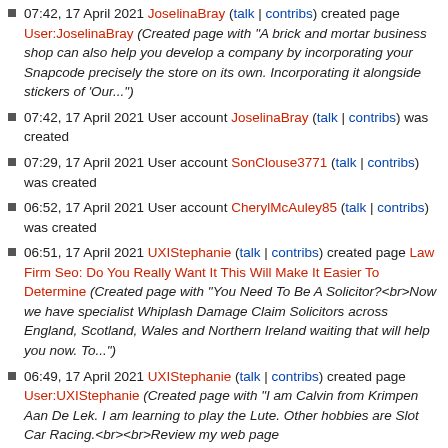07:42, 17 April 2021 JoselinaBray (talk | contribs) created page User:JoselinaBray (Created page with "A brick and mortar business shop can also help you develop a company by incorporating your Snapcode precisely the store on its own. Incorporating it alongside stickers of 'Our...")
07:42, 17 April 2021 User account JoselinaBray (talk | contribs) was created
07:29, 17 April 2021 User account SonClouse3771 (talk | contribs) was created
06:52, 17 April 2021 User account CherylMcAuley85 (talk | contribs) was created
06:51, 17 April 2021 UXIStephanie (talk | contribs) created page Law Firm Seo: Do You Really Want It This Will Make It Easier To Determine (Created page with "You Need To Be A Solicitor?<br>Now we have specialist Whiplash Damage Claim Solicitors across England, Scotland, Wales and Northern Ireland waiting that will help you now. To...")
06:49, 17 April 2021 UXIStephanie (talk | contribs) created page User:UXIStephanie (Created page with "I am Calvin from Krimpen Aan De Lek. I am learning to play the Lute. Other hobbies are Slot Car Racing.<br><br>Review my web page [https://www.1to1legal.com/marketing/2227-law...")
06:43, 17 April 2021 User account TracieEpperson9 (talk | contribs) was created
06:40, 17 April 2021 User account DominicSharwood (talk | contribs)